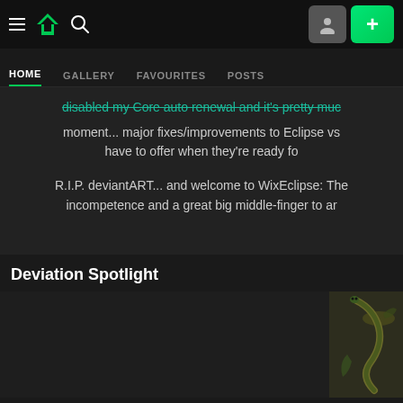DeviantART navigation bar with hamburger menu, DA logo, search icon, user button, and add (+) button
HOME | GALLERY | FAVOURITES | POSTS
disabled my Core auto renewal and it's pretty much at the moment... major fixes/improvements to Eclipse vs have to offer when they're ready fo
R.I.P. deviantART... and welcome to WixEclipse: The incompetence and a great big middle-finger to ar
Deviation Spotlight
[Figure (photo): Two panel deviation spotlight: large dark placeholder image on the left, small thumbnail on the right with a green/dark snake or vine-like illustration]